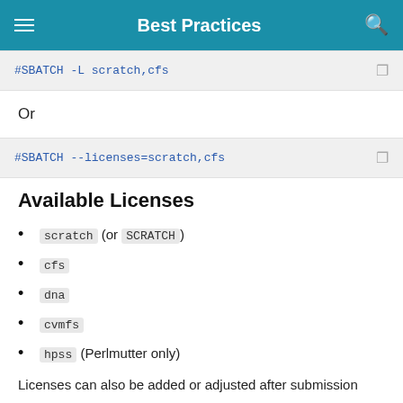Best Practices
#SBATCH -L scratch,cfs
Or
#SBATCH --licenses=scratch,cfs
Available Licenses
scratch (or SCRATCH)
cfs
dna
cvmfs
hpss (Perlmutter only)
Licenses can also be added or adjusted after submission